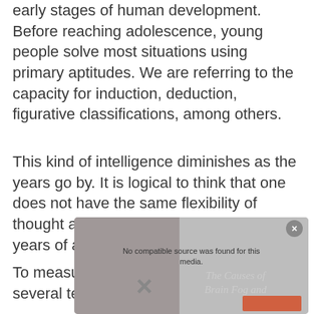early stages of human development. Before reaching adolescence, young people solve most situations using primary aptitudes. We are referring to the capacity for induction, deduction, figurative classifications, among others.
This kind of intelligence diminishes as the years go by. It is logical to think that one does not have the same flexibility of thought at 60 years of age than at 11 years of age.
To measure fluid intelligence there are several tests that are responsible for
[Figure (screenshot): A video player overlay showing 'No compatible source was found for this media' message with an X close button and a partially visible title 'The Causes of Brain Fog and' with a thumbnail.]